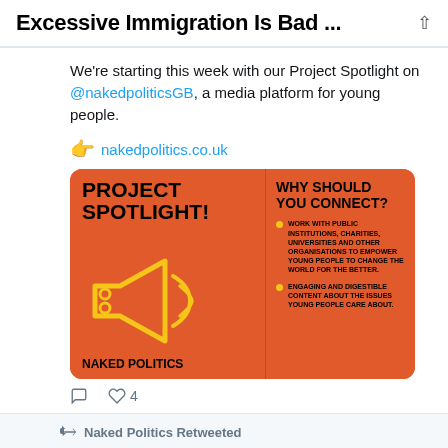Excessive Immigration Is Bad ...
We're starting this week with our Project Spotlight on @nakedpoliticsGB, a media platform for young people.
nakedpolitics.co.uk
[Figure (infographic): Orange card graphic split into two panels. Left panel: 'PROJECT SPOTLIGHT!' in large bold black text with a yellow megaphone illustration and 'NAKED POLITICS' at the bottom. Right panel: 'WHY SHOULD YOU CONNECT?' with two bullet points about working with public institutions and providing engaging content for young people.]
4
Naked Politics Retweeted
Nads White I... @Nad... · Aug 8
#NEW: More than 600 children underwent